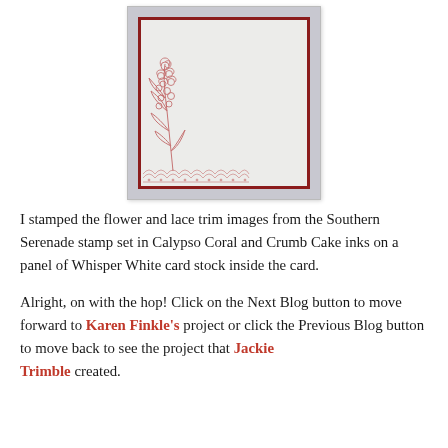[Figure (illustration): A greeting card with a dark red border on a light gray/lavender background. Inside the card is a stamped floral image (flower sprig) and lace trim in coral/red ink at the bottom left corner, on white card stock.]
I stamped the flower and lace trim images from the Southern Serenade stamp set in Calypso Coral and Crumb Cake inks on a panel of Whisper White card stock inside the card.
Alright, on with the hop!  Click on the Next Blog button to move forward to Karen Finkle's project or click the Previous Blog button to move back to see the project that Jackie Trimble created.